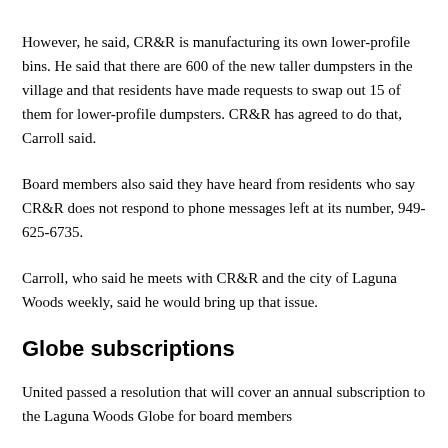However, he said, CR&R is manufacturing its own lower-profile bins. He said that there are 600 of the new taller dumpsters in the village and that residents have made requests to swap out 15 of them for lower-profile dumpsters. CR&R has agreed to do that, Carroll said.
Board members also said they have heard from residents who say CR&R does not respond to phone messages left at its number, 949-625-6735.
Carroll, who said he meets with CR&R and the city of Laguna Woods weekly, said he would bring up that issue.
Globe subscriptions
United passed a resolution that will cover an annual subscription to the Laguna Woods Globe for board members